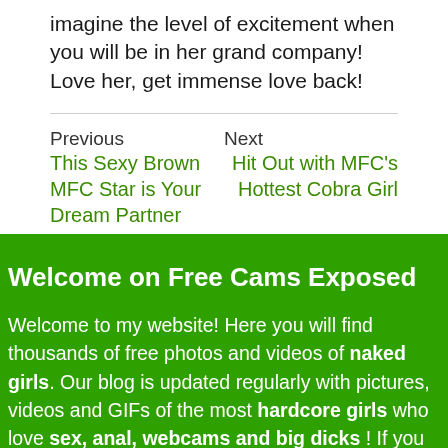imagine the level of excitement when you will be in her grand company! Love her, get immense love back!
Previous
This Sexy Brown MFC Star is Your Dream Partner
Next
Hit Out with MFC's Hottest Cobra Girl
Welcome on Free Cams Exposed
Welcome to my website! Here you will find thousands of free photos and videos of naked girls. Our blog is updated regularly with pictures, videos and GIFs of the most hardcore girls who love sex, anal, webcams and big dicks ! If you want to chat with a bitch you can meet one Free Cams Exposed for sure!
Pages